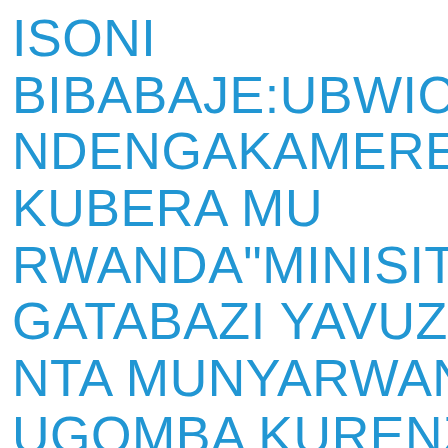ISONI BIBABAJE:UBWICAN NDENGAKAMERE B KUBERA MU RWANDA"MINISITIRI GATABAZI YAVUZE NTA MUNYARWANI UGOMBA KURENZA ATARIKINGIZA COV